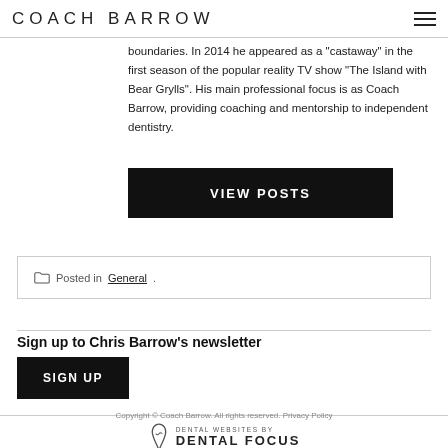COACH BARROW
boundaries. In 2014 he appeared as a "castaway" in the first season of the popular reality TV show "The Island with Bear Grylls". His main professional focus is as Coach Barrow, providing coaching and mentorship to independent dentistry.
VIEW POSTS
Posted in General.
Sign up to Chris Barrow's newsletter
SIGN UP
Copyright © Coach Barrow. All rights reserved. Privacy Policy
DENTAL WEBSITES BY
DENTAL FOCUS